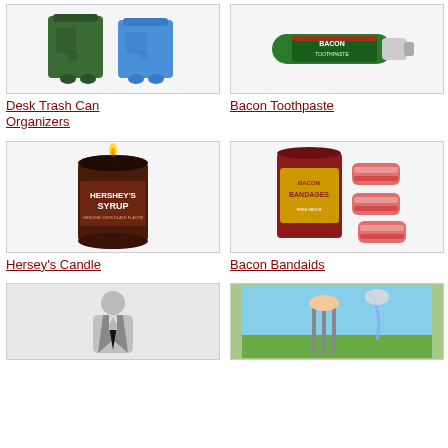[Figure (photo): Desk trash can organizers - green and blue wheelie bins]
Desk Trash Can Organizers
[Figure (photo): Bacon toothpaste tube]
Bacon Toothpaste
[Figure (photo): Hershey's Syrup candle in a tin can]
Hersey's Candle
[Figure (photo): Bacon Bandaids box with bacon strips]
Bacon Bandaids
[Figure (photo): Man in silver suit]
[Figure (photo): Person pouring liquid near golf clubs on grass]